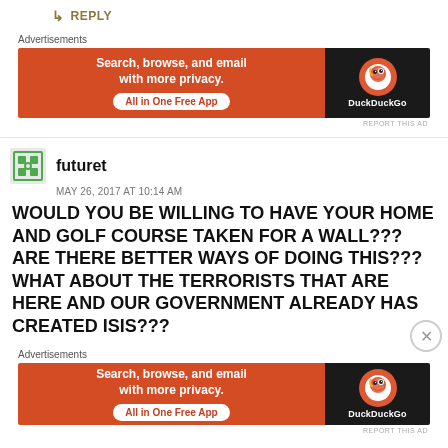↳ REPLY
Advertisements
[Figure (screenshot): DuckDuckGo advertisement banner: 'Search, browse, and email with more privacy. All in One Free App' on orange background with DuckDuckGo logo on dark background]
REPORT THIS AD
futuret
MAY 26, 2017 AT 10:14 AM
WOULD YOU BE WILLING TO HAVE YOUR HOME AND GOLF COURSE TAKEN FOR A WALL??? ARE THERE BETTER WAYS OF DOING THIS??? WHAT ABOUT THE TERRORISTS THAT ARE HERE AND OUR GOVERNMENT ALREADY HAS CREATED ISIS???
Advertisements
[Figure (screenshot): DuckDuckGo advertisement banner: 'Search, browse, and email with more privacy. All in One Free App' on orange background with DuckDuckGo logo on dark background]
REPORT THIS AD